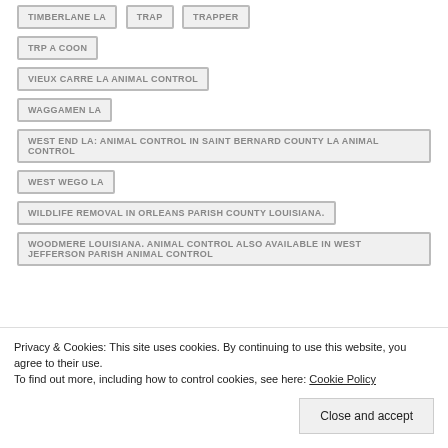TIMBERLANE LA
TRAP
TRAPPER
TRP A COON
VIEUX CARRE LA ANIMAL CONTROL
WAGGAMEN LA
WEST END LA: ANIMAL CONTROL IN SAINT BERNARD COUNTY LA ANIMAL CONTROL
WEST WEGO LA
WILDLIFE REMOVAL IN ORLEANS PARISH COUNTY LOUISIANA.
WOODMERE LOUISIANA. ANIMAL CONTROL ALSO AVAILABLE IN WEST JEFFERSON PARISH ANIMAL CONTROL
Privacy & Cookies: This site uses cookies. By continuing to use this website, you agree to their use.
To find out more, including how to control cookies, see here: Cookie Policy
Close and accept